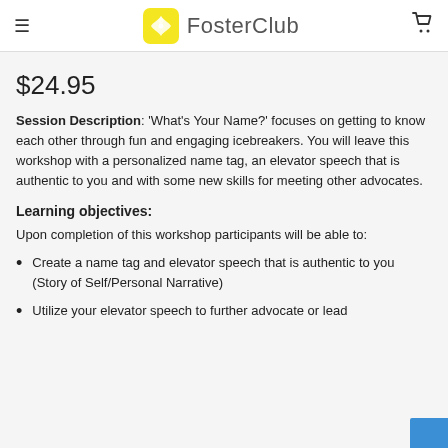FosterClub
$24.95
Session Description: 'What's Your Name?' focuses on getting to know each other through fun and engaging icebreakers. You will leave this workshop with a personalized name tag, an elevator speech that is authentic to you and with some new skills for meeting other advocates.
Learning objectives:
Upon completion of this workshop participants will be able to:
Create a name tag and elevator speech that is authentic to you (Story of Self/Personal Narrative)
Utilize your elevator speech to further advocate or lead